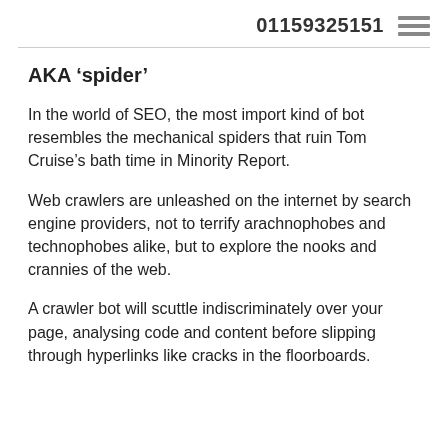01159325151
AKA ‘spider’
In the world of SEO, the most import kind of bot resembles the mechanical spiders that ruin Tom Cruise’s bath time in Minority Report.
Web crawlers are unleashed on the internet by search engine providers, not to terrify arachnophobes and technophobes alike, but to explore the nooks and crannies of the web.
A crawler bot will scuttle indiscriminately over your page, analysing code and content before slipping through hyperlinks like cracks in the floorboards.